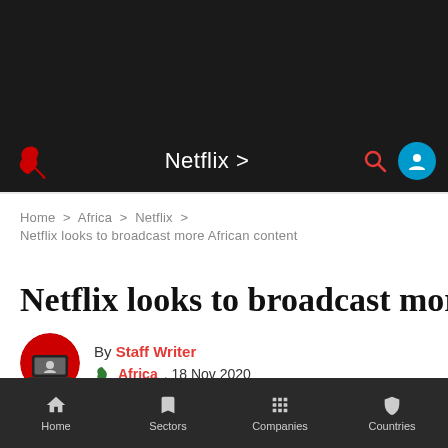Netflix >
Home > Africa > Netflix >
Netflix looks to broadcast more African content
Netflix looks to broadcast mor
By Staff Writer
Africa, 18 Nov 2020
Home  Sectors  Companies  Countries